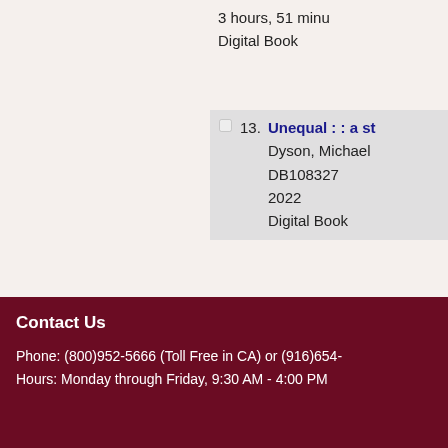3 hours, 51 minu
Digital Book
13. Unequal : : a st
Dyson, Michael
DB108327
2022
Digital Book
Select All  Clear All  Add Se
If you are a BTBL patron and wish to order books via th
Contact Us
Phone: (800)952-5666 (Toll Free in CA) or (916)654-
Hours: Monday through Friday, 9:30 AM - 4:00 PM